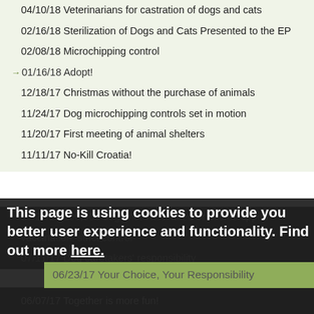04/10/18 Veterinarians for castration of dogs and cats
02/16/18 Sterilization of Dogs and Cats Presented to the EP
02/08/18 Microchipping control
01/16/18 Adopt!
12/18/17 Christmas without the purchase of animals
11/24/17 Dog microchipping controls set in motion
11/20/17 First meeting of animal shelters
11/11/17 No-Kill Croatia!
09/27/17 100,000 dogs not vaccinated or microchipped
This page is using cookies to provide you better user experience and functionality. Find out more here.
vaccination, strict control
07/11/17 Dog caretakers' responsibility
06/23/17 Your Choice, Your Responsibility
06/07/17 Together is more fun!
05/26/17 Spay/neuter, don't philosophize!